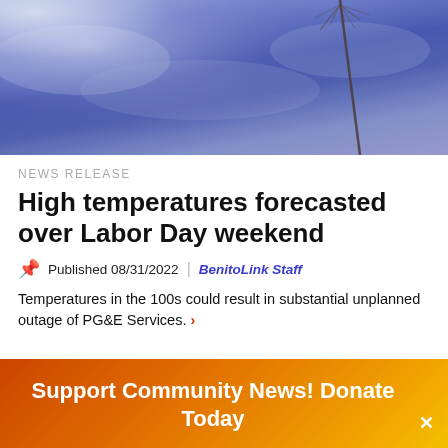[Figure (photo): Photo of dried grass or plant stems against a blue-purple cloudy sky background]
NEWS RELEASE
High temperatures forecasted over Labor Day weekend
Published 08/31/2022 | BenitoLink Staff
Temperatures in the 100s could result in substantial unplanned outage of PG&E Services.
Support Community News! Donate Today